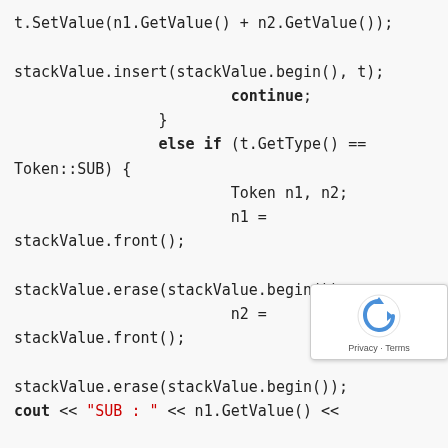t.SetValue(n1.GetValue() + n2.GetValue());

stackValue.insert(stackValue.begin(), t);
                        continue;
                }
                else if (t.GetType() ==
Token::SUB) {
                        Token n1, n2;
                        n1 =
stackValue.front();

stackValue.erase(stackValue.begin());
                        n2 =
stackValue.front();

stackValue.erase(stackValue.begin());
cout << "SUB : " << n1.GetValue() <<
[Figure (other): reCAPTCHA verification widget with rotating arrow icon and 'Privacy - Terms' label]